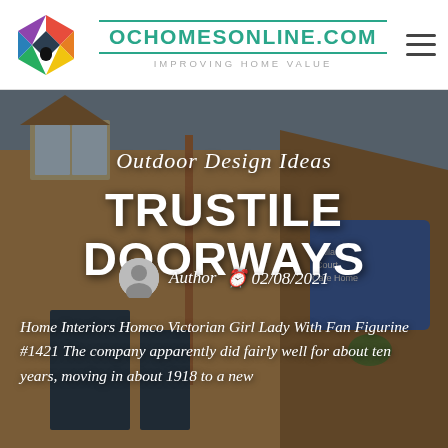[Figure (logo): Colorful house-shaped logo with rainbow colors (red, orange, yellow, green, blue, purple) and a dark door silhouette]
OCHOMESONLINE.COM
IMPROVING HOME VALUE
[Figure (photo): Photo of a brick building exterior, likely a care home named Allan Court Care Home, with dormer windows and hanging flower baskets]
Outdoor Design Ideas
TRUSTILE DOORWAYS
Author   02/08/2021
Home Interiors Homco Victorian Girl Lady With Fan Figurine #1421 The company apparently did fairly well for about ten years, moving in about 1918 to a new